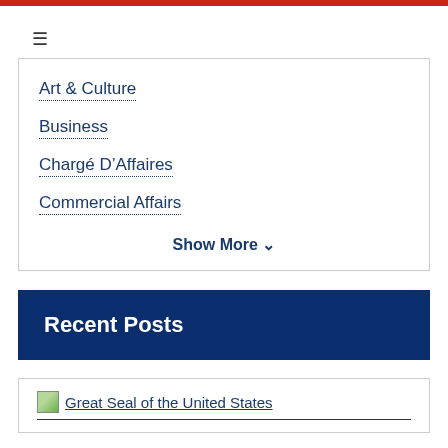Art & Culture
Business
Chargé D'Affaires
Commercial Affairs
Show More ∨
Recent Posts
Great Seal of the United States